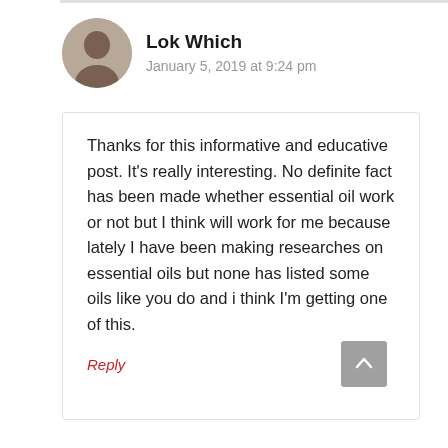[Figure (photo): Circular avatar photo of user Lok Which]
Lok Which
January 5, 2019 at 9:24 pm
Thanks for this informative and educative post. It’s really interesting. No definite fact has been made whether essential oil work or not but I think will work for me because lately I have been making researches on essential oils but none has listed some oils like you do and i think I’m getting one of this.
Reply